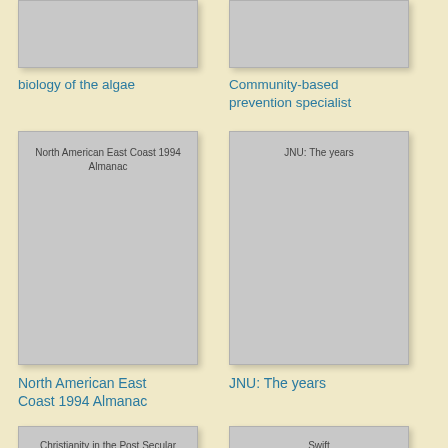[Figure (illustration): Book cover - biology of the algae (top cropped)]
biology of the algae
[Figure (illustration): Book cover - Community-based prevention specialist (top cropped)]
Community-based prevention specialist
[Figure (illustration): Book cover - North American East Coast 1994 Almanac]
North American East Coast 1994 Almanac
[Figure (illustration): Book cover - JNU: The years]
JNU: The years
[Figure (illustration): Book cover - Christianity in the Post Secular West (partially visible)]
[Figure (illustration): Book cover - Swift (partially visible)]